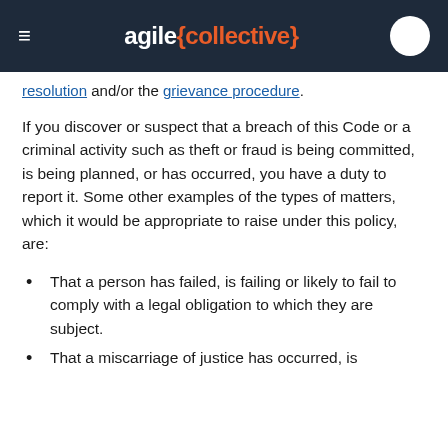agile{collective}
resolution and/or the grievance procedure.
If you discover or suspect that a breach of this Code or a criminal activity such as theft or fraud is being committed, is being planned, or has occurred, you have a duty to report it. Some other examples of the types of matters, which it would be appropriate to raise under this policy, are:
That a person has failed, is failing or likely to fail to comply with a legal obligation to which they are subject.
That a miscarriage of justice has occurred, is